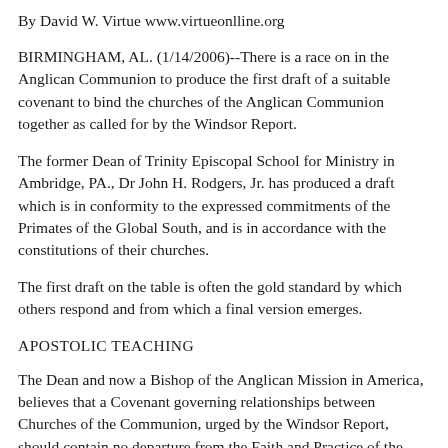By David W. Virtue www.virtueonlline.org
BIRMINGHAM, AL. (1/14/2006)--There is a race on in the Anglican Communion to produce the first draft of a suitable covenant to bind the churches of the Anglican Communion together as called for by the Windsor Report.
The former Dean of Trinity Episcopal School for Ministry in Ambridge, PA., Dr John H. Rodgers, Jr. has produced a draft which is in conformity to the expressed commitments of the Primates of the Global South, and is in accordance with the constitutions of their churches.
The first draft on the table is often the gold standard by which others respond and from which a final version emerges.
APOSTOLIC TEACHING
The Dean and now a Bishop of the Anglican Mission in America, believes that a Covenant governing relationships between Churches of the Communion, urged by the Windsor Report, should contain no departure from the Faith and Practice of the whole Christian Church, should be grounded in the Holy Scriptures which are the Word of God written, and be in accord with the teachings of the ancient Fathers and Councils of the Church.